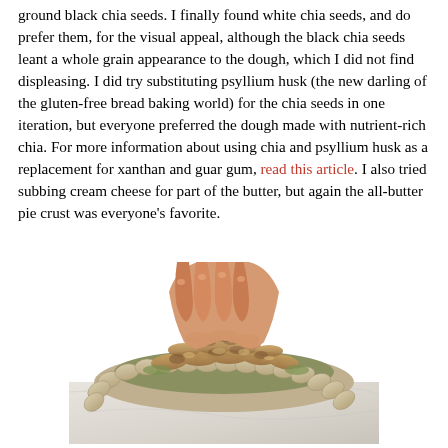ground black chia seeds. I finally found white chia seeds, and do prefer them, for the visual appeal, although the black chia seeds leant a whole grain appearance to the dough, which I did not find displeasing. I did try substituting psyllium husk (the new darling of the gluten-free bread baking world) for the chia seeds in one iteration, but everyone preferred the dough made with nutrient-rich chia. For more information about using chia and psyllium husk as a replacement for xanthan and guar gum, read this article. I also tried subbing cream cheese for part of the butter, but again the all-butter pie crust was everyone's favorite.
[Figure (photo): Photo of hands pressing a crumble topping into an unbaked pie crust with scalloped edges, viewed from above on a marble surface.]